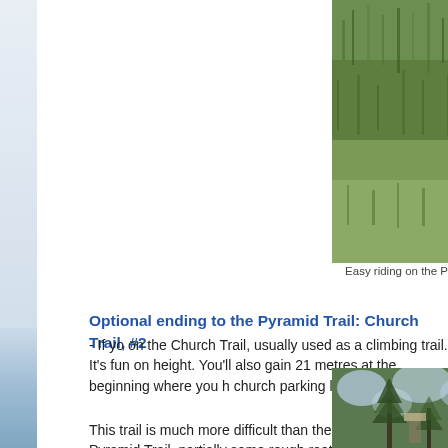[Figure (photo): Photo of grassy trail area, easy riding terrain]
Easy riding on the P
Optional ending to the Pyramid Trail: Church Trail, #2
- If yo on the Church Trail, usually used as a climbing trail. It's fun on height. You'll also gain 21 metres at the beginning where you h church parking lot.
This trail is much more difficult than the Pyramid Trail, partially some rough rooty terrain on the descent. As always, just walk a
[Figure (photo): Photo of pine/conifer trees along trail]